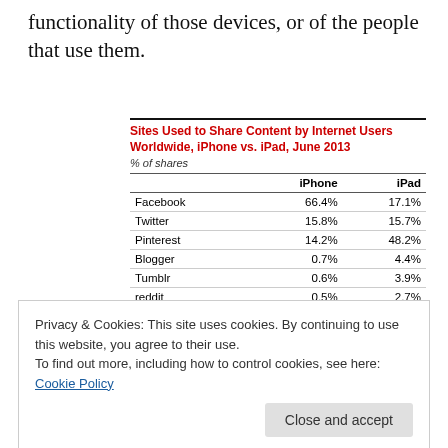functionality of those devices, or of the people that use them.
|  | iPhone | iPad |
| --- | --- | --- |
| Facebook | 66.4% | 17.1% |
| Twitter | 15.8% | 15.7% |
| Pinterest | 14.2% | 48.2% |
| Blogger | 0.7% | 4.4% |
| Tumblr | 0.6% | 3.9% |
| reddit | 0.5% | 2.7% |
| Other | 1.8% | 8.0% |
Privacy & Cookies: This site uses cookies. By continuing to use this website, you agree to their use.
To find out more, including how to control cookies, see here: Cookie Policy